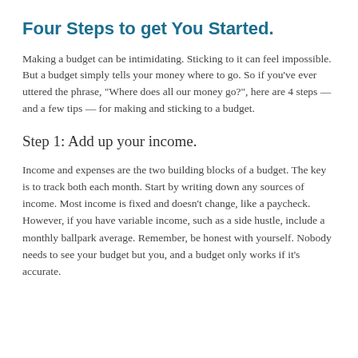Four Steps to get You Started.
Making a budget can be intimidating. Sticking to it can feel impossible. But a budget simply tells your money where to go. So if you've ever uttered the phrase, "Where does all our money go?", here are 4 steps — and a few tips — for making and sticking to a budget.
Step 1: Add up your income.
Income and expenses are the two building blocks of a budget. The key is to track both each month. Start by writing down any sources of income. Most income is fixed and doesn't change, like a paycheck. However, if you have variable income, such as a side hustle, include a monthly ballpark average. Remember, be honest with yourself. Nobody needs to see your budget but you, and a budget only works if it's accurate.